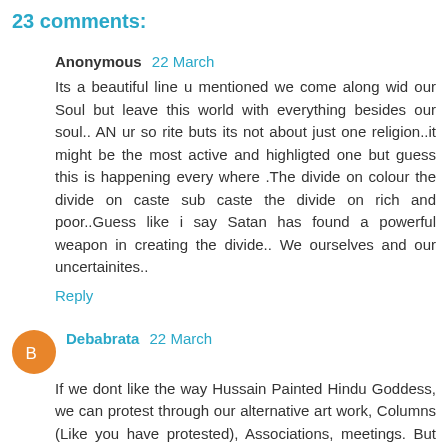23 comments:
Anonymous 22 March
Its a beautiful line u mentioned we come along wid our Soul but leave this world with everything besides our soul.. AN ur so rite buts its not about just one religion..it might be the most active and highligted one but guess this is happening every where .The divide on colour the divide on caste sub caste the divide on rich and poor..Guess like i say Satan has found a powerful weapon in creating the divide.. We ourselves and our uncertainites..
Reply
Debabrata 22 March
If we dont like the way Hussain Painted Hindu Goddess, we can protest through our alternative art work, Columns (Like you have protested), Associations, meetings. But who gave us right to ransack his house? Throughout his life, whenever MFH got accolades for his paintings in international area, it was India's pride, not of just a